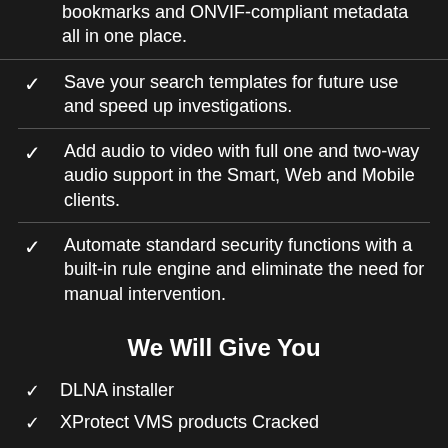bookmarks and ONVIF-compliant metadata all in one place.
Save your search templates for future use and speed up investigations.
Add audio to video with full one and two-way audio support in the Smart, Web and Mobile clients.
Automate standard security functions with a built-in rule engine and eliminate the need for manual intervention.
We Will Give You
DLNA installer
XProtect VMS products Cracked
XProtect Smart Client 32-64bit